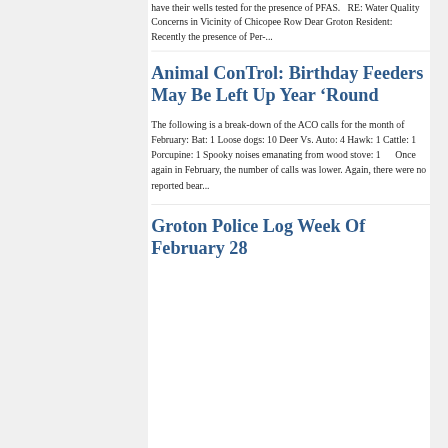have their wells tested for the presence of PFAS.   RE: Water Quality Concerns in Vicinity of Chicopee Row Dear Groton Resident:      Recently the presence of Per-...
Animal ConTrol: Birthday Feeders May Be Left Up Year ‘Round
The following is a break-down of the ACO calls for the month of February: Bat: 1 Loose dogs: 10 Deer Vs. Auto: 4 Hawk: 1 Cattle: 1 Porcupine: 1 Spooky noises emanating from wood stove: 1      Once again in February, the number of calls was lower. Again, there were no reported bear...
Groton Police Log Week Of February 28